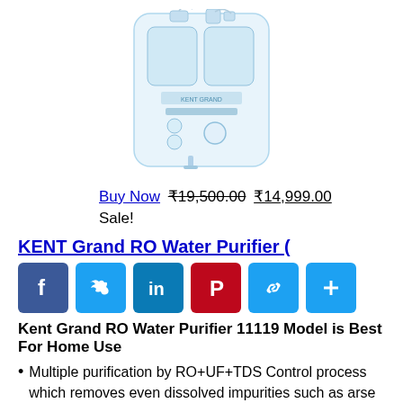[Figure (photo): KENT Grand RO Water Purifier product image showing white wall-mounted water purifier unit]
Buy Now ₹19,500.00 ₹14,999.00 Sale!
KENT Grand RO Water Purifier (
[Figure (infographic): Social media sharing icons: Facebook, Twitter, LinkedIn, Pinterest, Link, More]
Kent Grand RO Water Purifier 11119 Model is Best For Home Use
Multiple purification by RO+UF+TDS Control process which removes even dissolved impurities such as arsenic, rust, pesticides & fluorides, and kills bacteria & viruses to